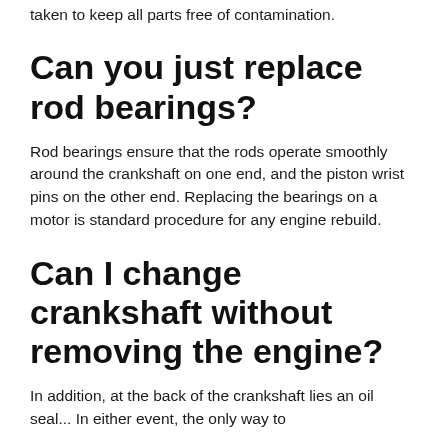taken to keep all parts free of contamination.
Can you just replace rod bearings?
Rod bearings ensure that the rods operate smoothly around the crankshaft on one end, and the piston wrist pins on the other end. Replacing the bearings on a motor is standard procedure for any engine rebuild.
Can I change crankshaft without removing the engine?
In addition, at the back of the crankshaft lies an oil seal... In either event, the only way to